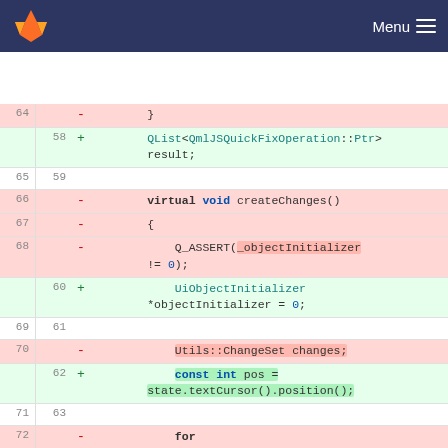Menu
[Figure (screenshot): GitLab code diff view showing changes between old and new versions of C++ code. Lines 64-72 on old side, lines 58-63 on new side. Shows deleted lines (red) and added lines (green) with diff markers.]